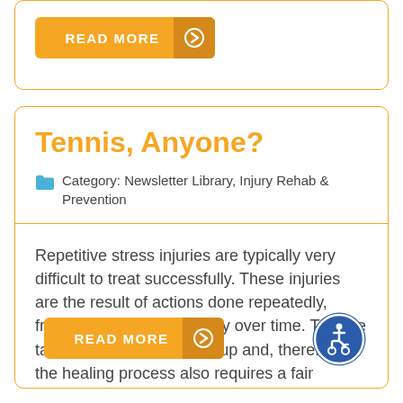[Figure (other): Orange READ MORE button with arrow icon]
Tennis, Anyone?
Category: Newsletter Library, Injury Rehab & Prevention
Repetitive stress injuries are typically very difficult to treat successfully. These injuries are the result of actions done repeatedly, frequently, and consistently over time. They've taken a long time to build up and, therefore, the healing process also requires a fair amount of time. Shin splints,
[Figure (other): Orange READ MORE button with arrow icon at bottom]
[Figure (other): Blue accessibility wheelchair icon in bottom right]